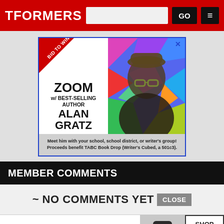TFORMERS
[Figure (advertisement): BID TO WIN! Zoom with best-selling author Alan Gratz. Meet him with your school, school district, or writer's group! Proceeds benefit TABC Book Drop (Writer's Cubed, a 501c3).]
MEMBER COMMENTS
~ NO COMMENTS YET
[Figure (advertisement): Bloomingdale's ad: View Today's Top Deals! SHOP NOW >]